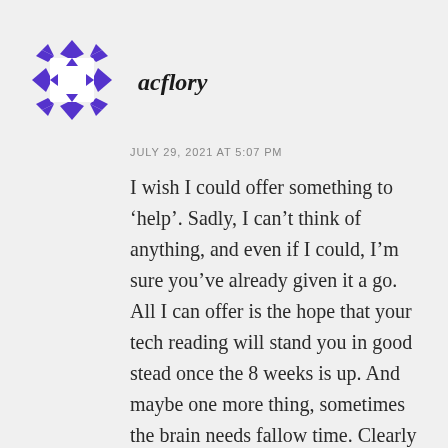[Figure (illustration): Purple and white geometric quilt-pattern avatar icon with diamond and arrow shapes arranged around a white square center]
acflory
JULY 29, 2021 AT 5:07 PM
I wish I could offer something to ‘help’. Sadly, I can’t think of anything, and even if I could, I’m sure you’ve already given it a go. All I can offer is the hope that your tech reading will stand you in good stead once the 8 weeks is up. And maybe one more thing, sometimes the brain needs fallow time. Clearly not for the techie stuff but for the creative stuff. I’ll bet anything that by the time you can type comfortably again, your brain will be supercharged with new story ideas. Always a silver lining. 🙂